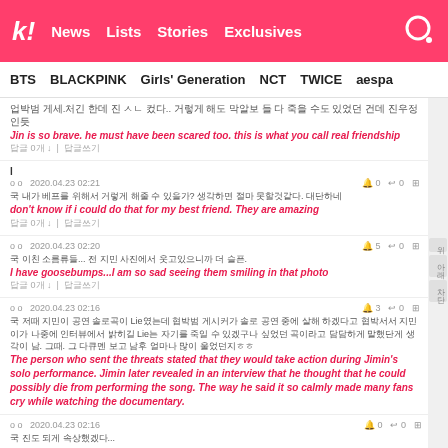k! News Lists Stories Exclusives
BTS BLACKPINK Girls' Generation NCT TWICE aespa
업박범 게세.처긴 한데 진 ㅅㄴ 컸다.. 거렇게 해도 막알보 들 다 죽을 수도 있었던 건데 진우정인듯
Jin is so brave. he must have been scared too. this is what you call real friendship
답글 0개 ↓ | 답글쓰기
l
o o 2020.04.23 02:21
내가 베프를 위해서 거렇게 해줄 수 있을가? 생각하면 절마 못할것같다. 대단하네
don't know if i could do that for my best friend. They are amazing
답글 0개 ↓ | 답글쓰기
o o 2020.04.23 02:20
이친 소름류들... 전 지민 사진에서 웃고있으니까 더 슬픈.
I have goosebumps...I am so sad seeing them smiling in that photo
답글 0개 ↓ | 답글쓰기
o o 2020.04.23 02:16
저때 지민이 공연 솔로곡이 Lie였는데 협박범 게시커가 솔로 공연 중에 살해 하겠다고 협박서서 지민이가 나중에 인터뷰에서 밝히길 Lie는 자기를 죽일 수 있겠구나 싶었던 곡이라고 담담하게 말했단게 생각이 남. 그때. 그 다큐멘 보고 남후 얼마나 많이 울었던지ㅎㅎ
The person who sent the threats stated that they would take action during Jimin's solo performance. Jimin later revealed in an interview that he thought that he could possibly die from performing the song. The way he said it so calmly made many fans cry while watching the documentary.
o o 2020.04.23 02:16
진도 되게 속상했겠다...
Jin must've been so upset as well...
답글 0개 ↓ | 답글쓰기
o o 2020.04.23 02:14